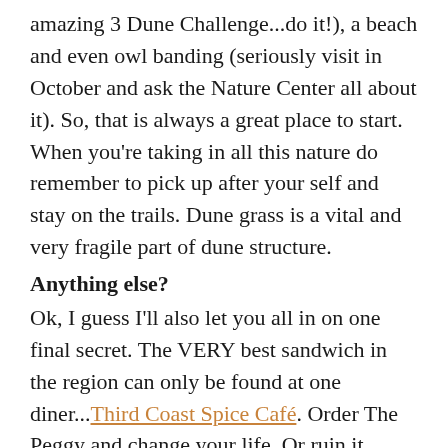amazing 3 Dune Challenge...do it!), a beach and even owl banding (seriously visit in October and ask the Nature Center all about it). So, that is always a great place to start. When you're taking in all this nature do remember to pick up after your self and stay on the trails. Dune grass is a vital and very fragile part of dune structure.
Anything else?
Ok, I guess I'll also let you all in on one final secret. The VERY best sandwich in the region can only be found at one diner...Third Coast Spice Café. Order The Peggy and change your life. Or ruin it because you can't ever eat another sandwich and enjoy it ever again